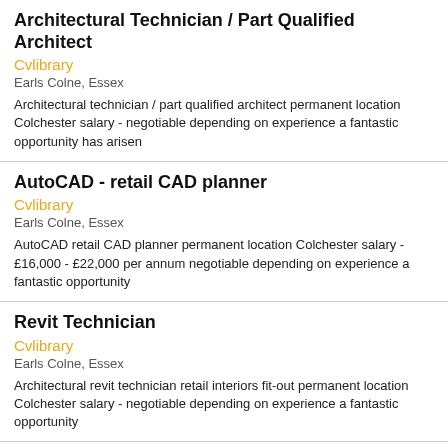Architectural Technician / Part Qualified Architect
Cvlibrary
Earls Colne, Essex
Architectural technician / part qualified architect permanent location Colchester salary - negotiable depending on experience a fantastic opportunity has arisen
AutoCAD - retail CAD planner
Cvlibrary
Earls Colne, Essex
AutoCAD retail CAD planner permanent location Colchester salary - £16,000 - £22,000 per annum negotiable depending on experience a fantastic opportunity
Revit Technician
Cvlibrary
Earls Colne, Essex
Architectural revit technician retail interiors fit-out permanent location Colchester salary - negotiable depending on experience a fantastic opportunity
Curtain Measurer
Cvlibrary
Diss, Norfolk